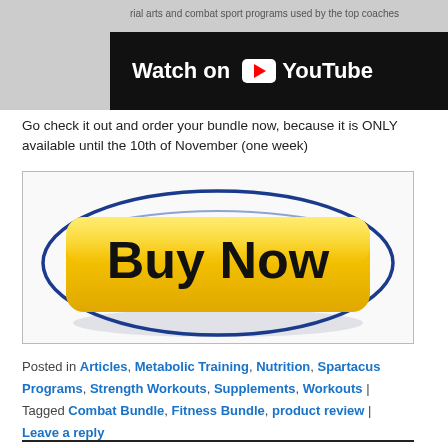[Figure (screenshot): YouTube video embed showing 'Watch on YouTube' button with dark banner, partially visible text about martial arts and combat sport programs]
Go check it out and order your bundle now, because it is ONLY available until the 10th of November (one week)
[Figure (illustration): Blue oval framing a yellow 'Buy Now' button with bold black text]
Posted in Articles, Metabolic Training, Nutrition, Spartacus Programs, Strength Workouts, Supplements, Workouts | Tagged Combat Bundle, Fitness Bundle, product review | Leave a reply